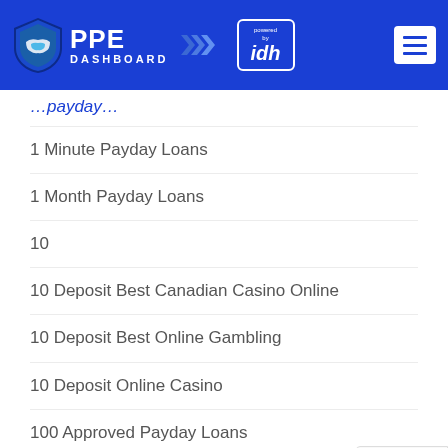PPE DASHBOARD powered by idh
Payday (partial, cut off at top)
1 Minute Payday Loans
1 Month Payday Loans
10
10 Deposit Best Canadian Casino Online
10 Deposit Best Online Gambling
10 Deposit Online Casino
100 Approved Payday Loans
100 Best Dating Sites